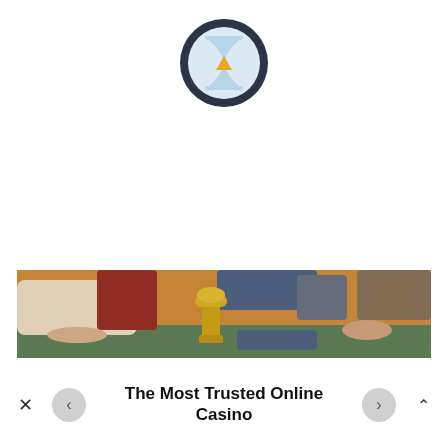[Figure (illustration): Hourglass icon — circular dark navy border, light blue hourglass shape inside with a small yellow/gold downward triangle in the center]
[Figure (photo): Casino table scene with a dealer's hand and arm in white shirt, a gold trophy/roulette marker in the foreground, and blurred players around a gaming table with red and blue accents]
The Most Trusted Online Casino